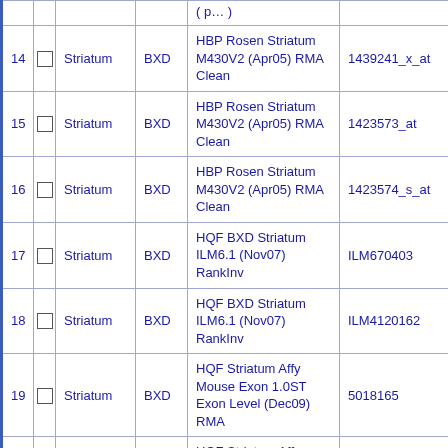| # |  | Tissue | Cross | Dataset | Probe/Trait |
| --- | --- | --- | --- | --- | --- |
| 14 | ☐ | Striatum | BXD | HBP Rosen Striatum M430V2 (Apr05) RMA Clean | 1439241_x_at |
| 15 | ☐ | Striatum | BXD | HBP Rosen Striatum M430V2 (Apr05) RMA Clean | 1423573_at |
| 16 | ☐ | Striatum | BXD | HBP Rosen Striatum M430V2 (Apr05) RMA Clean | 1423574_s_at |
| 17 | ☐ | Striatum | BXD | HQF BXD Striatum ILM6.1 (Nov07) RankInv | ILM670403 |
| 18 | ☐ | Striatum | BXD | HQF BXD Striatum ILM6.1 (Nov07) RankInv | ILM4120162 |
| 19 | ☐ | Striatum | BXD | HQF Striatum Affy Mouse Exon 1.0ST Exon Level (Dec09) RMA | 5018165 |
| 20 | ☐ | Striatum | BXD | HQF Striatum Affy Mouse Exon 1.0ST Exon Level (Dec09) RMA | 4723603 |
| 21 | ☐ | Striatum | BXD | HQF Striatum Affy Mouse Exon 1.0ST… |  |